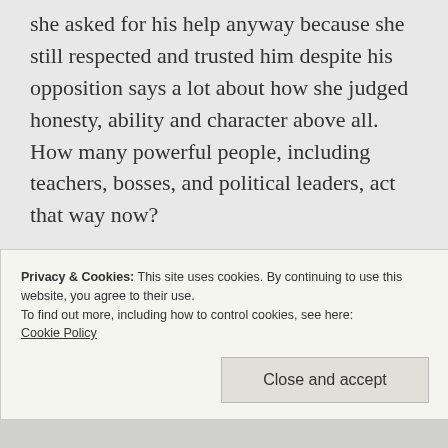she asked for his help anyway because she still respected and trusted him despite his opposition says a lot about how she judged honesty, ability and character above all. How many powerful people, including teachers, bosses, and political leaders, act that way now?
Chinese Dragons
Chinese dragons were called the Long. The Long were indeed creatures of water, and the
Privacy & Cookies: This site uses cookies. By continuing to use this website, you agree to their use.
To find out more, including how to control cookies, see here:
Cookie Policy